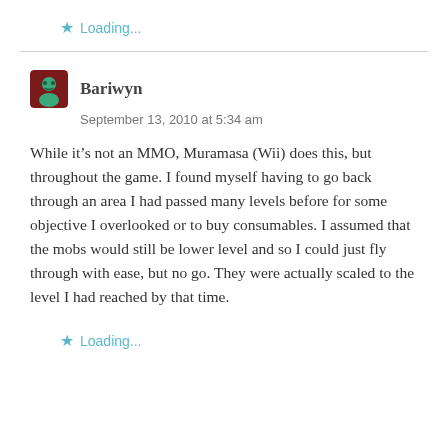Loading...
Bariwyn
September 13, 2010 at 5:34 am
While it’s not an MMO, Muramasa (Wii) does this, but throughout the game. I found myself having to go back through an area I had passed many levels before for some objective I overlooked or to buy consumables. I assumed that the mobs would still be lower level and so I could just fly through with ease, but no go. They were actually scaled to the level I had reached by that time.
Loading...